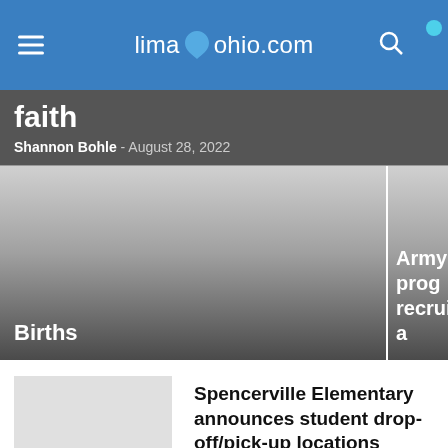limaohio.com
faith
Shannon Bohle - August 28, 2022
[Figure (photo): Card image for Births article with gradient overlay]
Births
[Figure (photo): Card image for Army program article with gradient overlay]
Army prog... recruits a...
Spencerville Elementary announces student drop-off/pick-up locations
Lima News - August 27, 2022